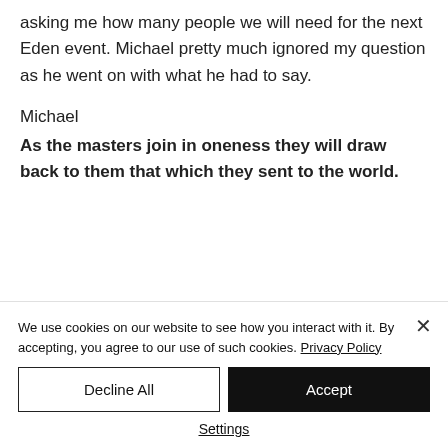asking me how many people we will need for the next Eden event. Michael pretty much ignored my question as he went on with what he had to say.
Michael
As the masters join in oneness they will draw back to them that which they sent to the world.
We use cookies on our website to see how you interact with it. By accepting, you agree to our use of such cookies. Privacy Policy
Decline All
Accept
Settings